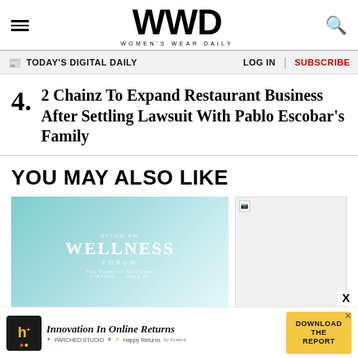WWD — Women's Wear Daily
TODAY'S DIGITAL DAILY   LOG IN   SUBSCRIBE
4. 2 Chainz To Expand Restaurant Business After Settling Lawsuit With Pablo Escobar's Family
YOU MAY ALSO LIKE
[Figure (photo): Wellness Forum promotional image with teal/blue background and text reading WELLNESS FORUM - The Power of Self-Care, Virtual]
[Figure (photo): Broken/unloaded image placeholder]
[Figure (infographic): Advertisement banner: Innovation In Online Returns - Download The Report, featuring Happy Returns branding]